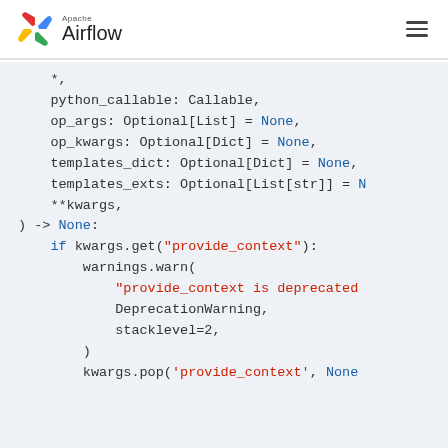Apache Airflow
[Figure (screenshot): Apache Airflow logo with pinwheel icon]
Code snippet showing Python function signature and body with kwargs.get('provide_context') warning logic